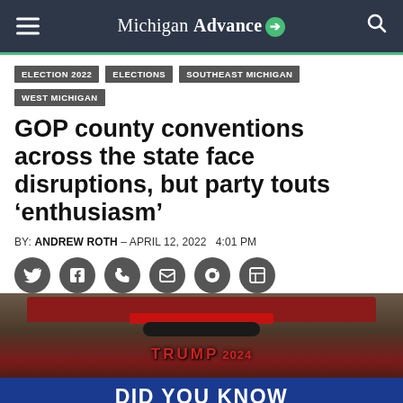Michigan Advance
ELECTION 2022
ELECTIONS
SOUTHEAST MICHIGAN
WEST MICHIGAN
GOP county conventions across the state face disruptions, but party touts ‘enthusiasm’
BY: ANDREW ROTH - APRIL 12, 2022  4:01 PM
[Figure (photo): Rear of a red vehicle with a Trump sticker and a blue bumper sticker reading: DID YOU KNOW 1 OUT OF 3 BIDEN SUPPORTERS ARE AS STUPID AS THE OTHER 2]